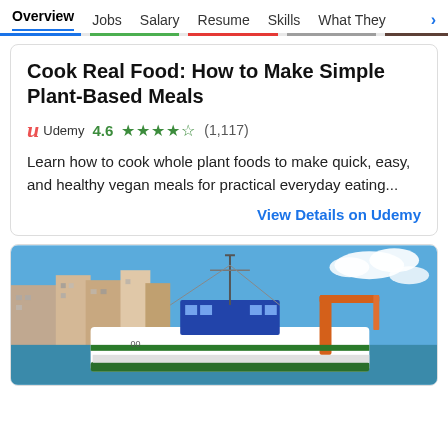Overview  Jobs  Salary  Resume  Skills  What They >
Cook Real Food: How to Make Simple Plant-Based Meals
Udemy  4.6 ★★★★★ (1,117)
Learn how to cook whole plant foods to make quick, easy, and healthy vegan meals for practical everyday eating...
View Details on Udemy
[Figure (photo): A fishing boat and harbor scene with buildings in the background, blue sky with clouds, orange crane equipment visible on the boat.]